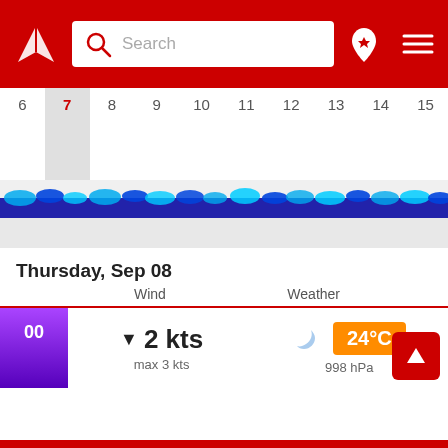[Figure (screenshot): Red app header with white logo (triangular arrow), search bar, pin icon and hamburger menu]
[Figure (infographic): Calendar date strip showing days 6 through 15, with day 7 highlighted in red and day 8 selected (gray). Below the dates is a wave visualization strip with blue/cyan wave icons along a dark blue horizontal band.]
Thursday, Sep 08
Wind
Weather
00
▼  2 kts
max 3 kts
24°C
998 hPa